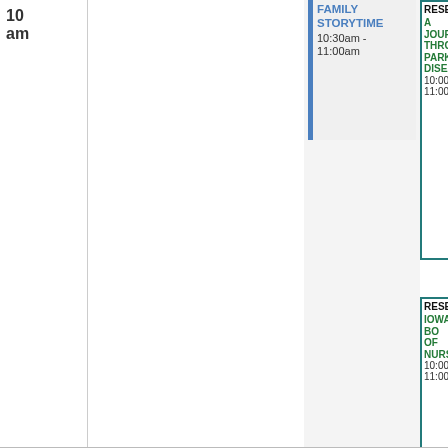10 am
FAMILY STORYTIME
10:30am - 11:00am
RESERV. A JOURNEY THROUGH PARKINS DISEASE 10:00am 11:00am
RESERV. IOWA BO OF NURS 10:00am 11:00am
GENEALOGY PLUS 10:00a 12:00p Closed (edit icon)
TODDLER STORYTIME 10:30a 11:00a